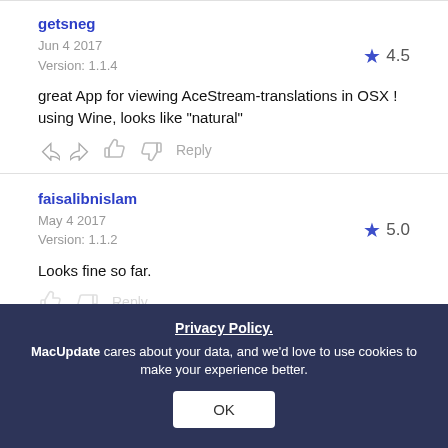getsneg
Jun 4 2017
Version: 1.1.4
4.5
great App for viewing AceStream-translations in OSX ! using Wine, looks like "natural"
faisalibnislam
May 4 2017
Version: 1.1.2
5.0
Looks fine so far.
Privacy Policy.
MacUpdate cares about your data, and we'd love to use cookies to make your experience better.
OK